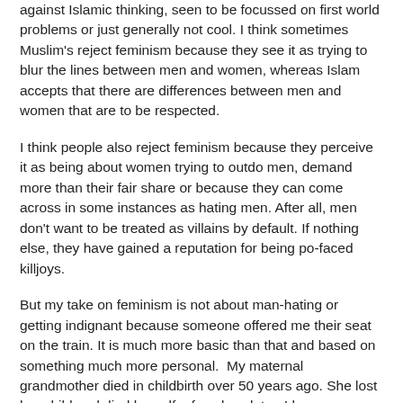against Islamic thinking, seen to be focussed on first world problems or just generally not cool. I think sometimes Muslim's reject feminism because they see it as trying to blur the lines between men and women, whereas Islam accepts that there are differences between men and women that are to be respected.
I think people also reject feminism because they perceive it as being about women trying to outdo men, demand more than their fair share or because they can come across in some instances as hating men. After all, men don't want to be treated as villains by default. If nothing else, they have gained a reputation for being po-faced killjoys.
But my take on feminism is not about man-hating or getting indignant because someone offered me their seat on the train. It is much more basic than that and based on something much more personal.  My maternal grandmother died in childbirth over 50 years ago. She lost her child and died herself a few days later. I have never been quite clear...